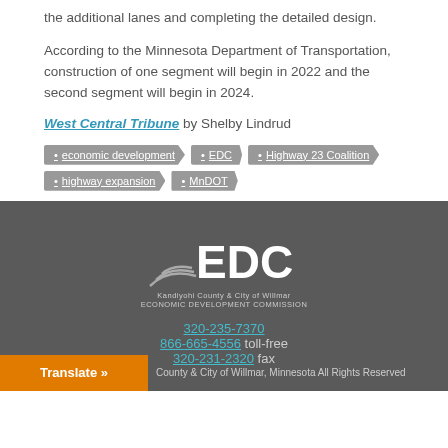the additional lanes and completing the detailed design.
According to the Minnesota Department of Transportation, construction of one segment will begin in 2022 and the second segment will begin in 2024.
West Central Tribune by Shelby Lindrud
economic development
EDC
Highway 23 Coalition
highway expansion
MnDOT
[Figure (logo): EDC logo with arrows and subtitle: Kandiyohi County & City of Willmar ECONOMIC DEVELOPMENT COMMISSION]
320-235-7370
866-665-4556 toll-free
320-231-2320 fax
County & City of Willmar, Minnesota All Rights Reserved